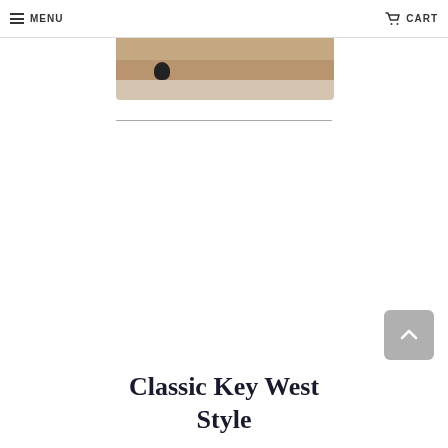MENU   CART
[Figure (photo): Partial view of a person sitting at a marble or stone countertop surface, with a small dark object visible. Bottom portion of an e-commerce product photo.]
Classic Key West Style